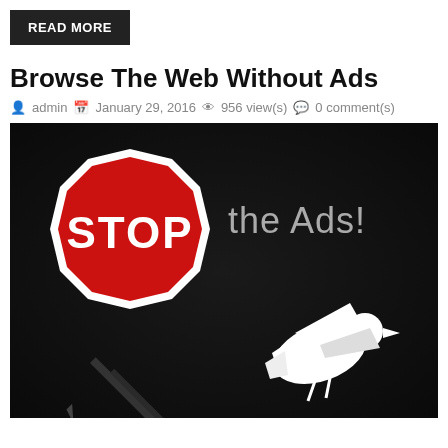READ MORE
Browse The Web Without Ads
admin  January 29, 2016  956 view(s)  0 comment(s)
[Figure (photo): Dark background image with a red STOP sign octagon on the left with 'STOP' text in white inside, text 'the Ads!' in gray to the right, and a white dove with a pencil/pen below in the lower portion of the image.]